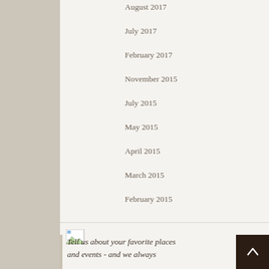August 2017
July 2017
February 2017
November 2015
July 2015
May 2015
April 2015
March 2015
February 2015
[Figure (photo): Broken/unloaded image placeholder with small image icon visible in top-left corner]
Tell us about your favorite places and events - and we always